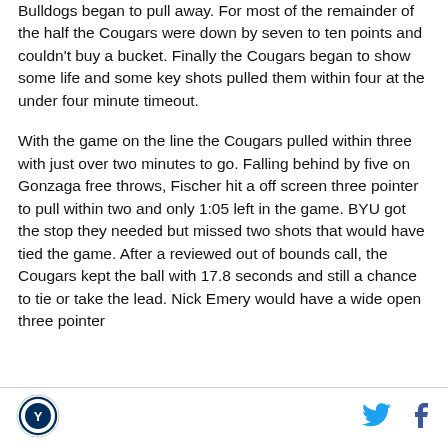Bulldogs began to pull away. For most of the remainder of the half the Cougars were down by seven to ten points and couldn't buy a bucket. Finally the Cougars began to show some life and some key shots pulled them within four at the under four minute timeout.
With the game on the line the Cougars pulled within three with just over two minutes to go. Falling behind by five on Gonzaga free throws, Fischer hit a off screen three pointer to pull within two and only 1:05 left in the game. BYU got the stop they needed but missed two shots that would have tied the game. After a reviewed out of bounds call, the Cougars kept the ball with 17.8 seconds and still a chance to tie or take the lead. Nick Emery would have a wide open three pointer
[Figure (logo): BYU Cougars circular logo]
[Figure (logo): Twitter bird icon]
[Figure (logo): Facebook f icon]